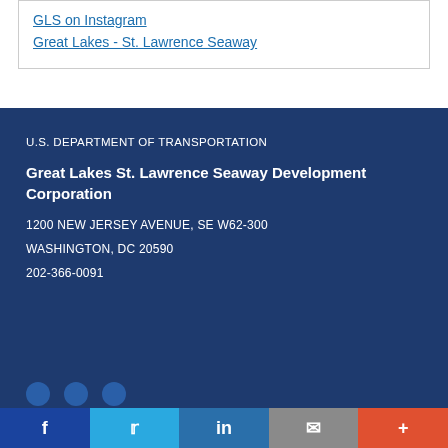GLS on Instagram
Great Lakes - St. Lawrence Seaway
U.S. DEPARTMENT OF TRANSPORTATION
Great Lakes St. Lawrence Seaway Development Corporation
1200 NEW JERSEY AVENUE, SE W62-300
WASHINGTON, DC 20590
202-366-0091
f  Twitter  in  mail  +